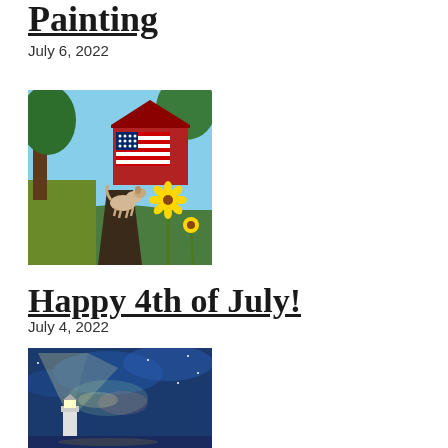Painting
July 6, 2022
[Figure (illustration): Painting of a red barn with an American flag, a golden dog on a path, sunflowers, and trees in a rural farm scene.]
Happy 4th of July!
July 4, 2022
[Figure (illustration): Painting of a lighthouse at night with dramatic blue sky, clouds, and rays of colorful light.]